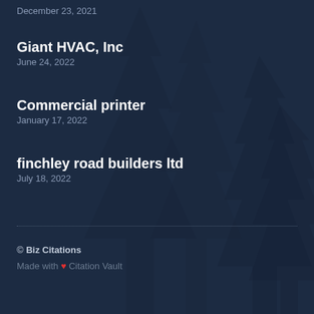December 23, 2021
Giant HVAC, Inc
June 24, 2022
Commercial printer
January 17, 2022
finchley road builders ltd
July 18, 2022
© Biz Citations
Made with ♥ Citation Vault